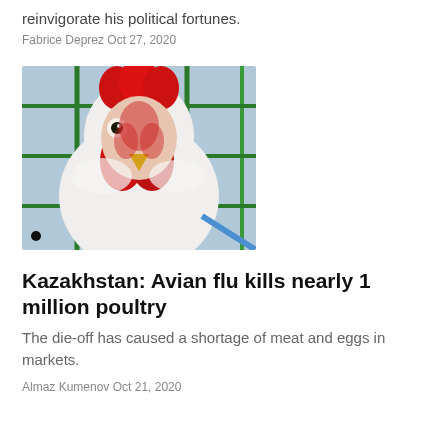reinvigorate his political fortunes.
Fabrice Deprez Oct 27, 2020
[Figure (photo): Close-up photo of a white chicken with a red comb, seen through green wire fencing]
Kazakhstan: Avian flu kills nearly 1 million poultry
The die-off has caused a shortage of meat and eggs in markets.
Almaz Kumenov Oct 21, 2020